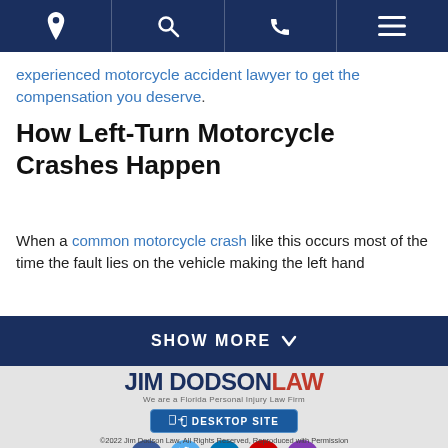Navigation bar with location, search, phone, and menu icons
experienced motorcycle accident lawyer to get the compensation you deserve.
How Left-Turn Motorcycle Crashes Happen
When a common motorcycle crash like this occurs most of the time the fault lies on the vehicle making the left hand
[Figure (other): SHOW MORE button/bar with dark navy background and chevron]
[Figure (logo): Jim Dodson Law logo - JIM DODSON in navy, LAW in red, tagline: We are a Florida Personal Injury Law Firm, with DESKTOP SITE button and social media icons (Facebook, Twitter, LinkedIn, YouTube, Instagram)]
©2022 Jim Dodson Law, All Rights Reserved, Reproduced with Permission
Privacy Policy